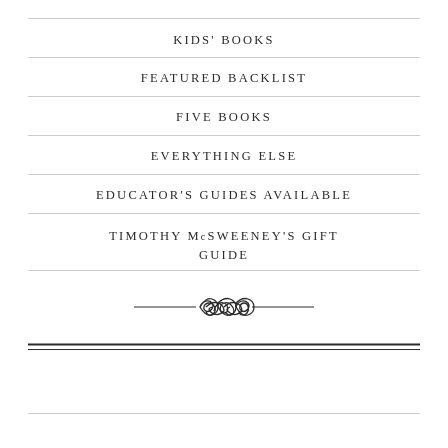KIDS' BOOKS
FEATURED BACKLIST
FIVE BOOKS
EVERYTHING ELSE
EDUCATOR'S GUIDES AVAILABLE
TIMOTHY McSWEENEY'S GIFT GUIDE
[Figure (illustration): Decorative ornamental divider with intertwined loop design flanked by short horizontal lines]
[Figure (illustration): Double horizontal rule decorative border]